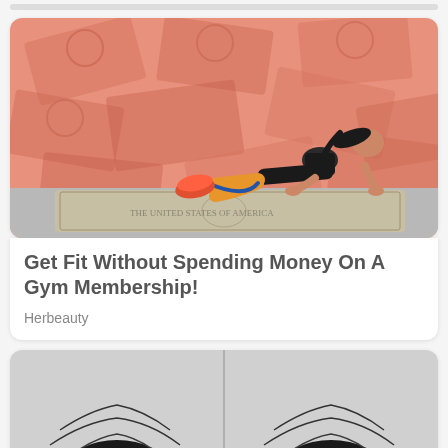[Figure (photo): Woman doing plank exercise with resistance band on a dollar bill yoga mat, on a background of scattered orange-tinted $100 bills]
Get Fit Without Spending Money On A Gym Membership!
Herbeauty
[Figure (photo): Two close-up top-of-head hair shots side by side on grey background, split down the middle]